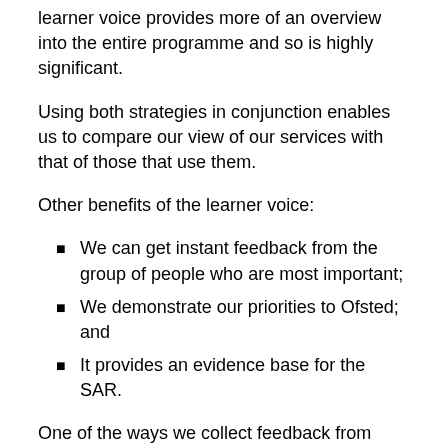learner voice provides more of an overview into the entire programme and so is highly significant.
Using both strategies in conjunction enables us to compare our view of our services with that of those that use them.
Other benefits of the learner voice:
We can get instant feedback from the group of people who are most important;
We demonstrate our priorities to Ofsted; and
It provides an evidence base for the SAR.
One of the ways we collect feedback from associates is via our monthly online survey known as The Associate Barometer. The purpose of this survey is to collate regular feedback on associates' motivation and identify those